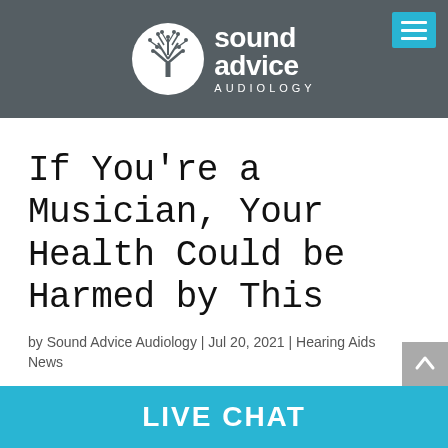[Figure (logo): Sound Advice Audiology logo with white tree in circle and text]
If You're a Musician, Your Health Could be Harmed by This
by Sound Advice Audiology | Jul 20, 2021 | Hearing Aids News
LIVE CHAT